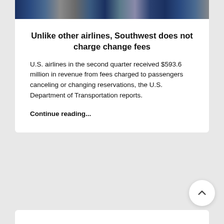[Figure (photo): Partial image of an airplane, appearing as a dark blue and grey strip at the top of the card]
Unlike other airlines, Southwest does not charge change fees
U.S. airlines in the second quarter received $593.6 million in revenue from fees charged to passengers canceling or changing reservations, the U.S. Department of Transportation reports.
Continue reading...